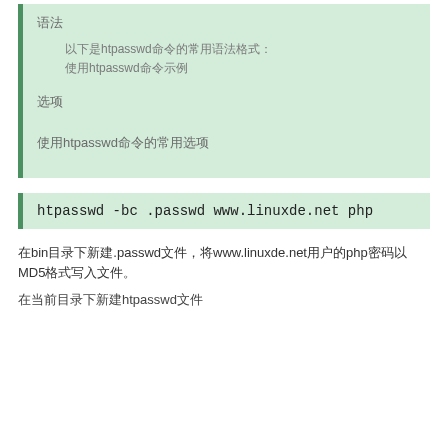语法
以下是htpasswd命令的常用语法格式：
使用htpasswd命令示例
选项
使用htpasswd命令的常用选项
htpasswd -bc .passwd www.linuxde.net php
在bin目录下新建.passwd文件，将www.linuxde.net用户的php密码以MD5格式写入文件。
在当前目录下新建htpasswd文件